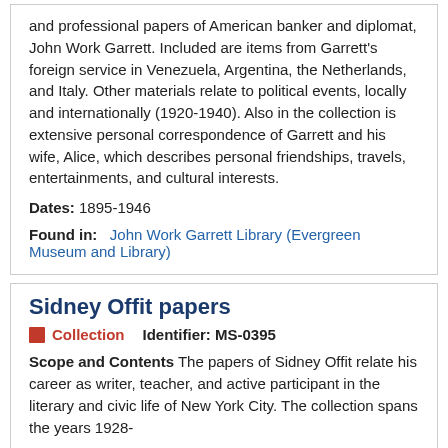and professional papers of American banker and diplomat, John Work Garrett. Included are items from Garrett's foreign service in Venezuela, Argentina, the Netherlands, and Italy. Other materials relate to political events, locally and internationally (1920-1940). Also in the collection is extensive personal correspondence of Garrett and his wife, Alice, which describes personal friendships, travels, entertainments, and cultural interests.
Dates: 1895-1946
Found in: John Work Garrett Library (Evergreen Museum and Library)
Sidney Offit papers
Collection   Identifier: MS-0395
Scope and Contents The papers of Sidney Offit relate his career as writer, teacher, and active participant in the literary and civic life of New York City. The collection spans the years 1928-